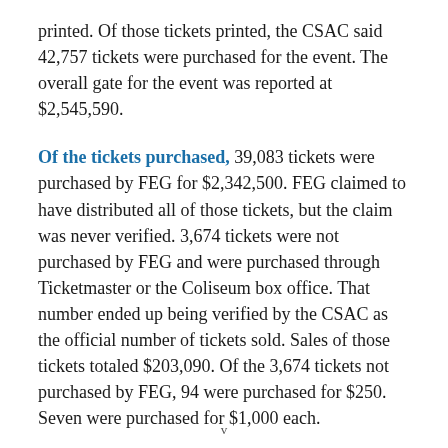printed. Of those tickets printed, the CSAC said 42,757 tickets were purchased for the event. The overall gate for the event was reported at $2,545,590.
Of the tickets purchased, 39,083 tickets were purchased by FEG for $2,342,500. FEG claimed to have distributed all of those tickets, but the claim was never verified. 3,674 tickets were not purchased by FEG and were purchased through Ticketmaster or the Coliseum box office. That number ended up being verified by the CSAC as the official number of tickets sold. Sales of those tickets totaled $203,090. Of the 3,674 tickets not purchased by FEG, 94 were purchased for $250. Seven were purchased for $1,000 each.
v